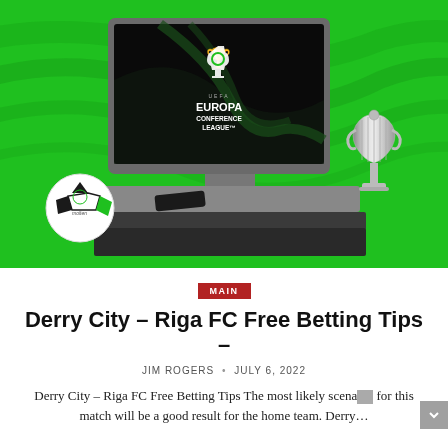[Figure (photo): UEFA Europa Conference League promotional image showing a TV displaying the Europa Conference League logo, a Molten soccer ball, a silver trophy, and a smartphone on a gray TV stand, all on a bright green background.]
MAIN
Derry City – Riga FC Free Betting Tips –
JIM ROGERS • JULY 6, 2022
Derry City – Riga FC Free Betting Tips The most likely scenario for this match will be a good result for the home team. Derry…